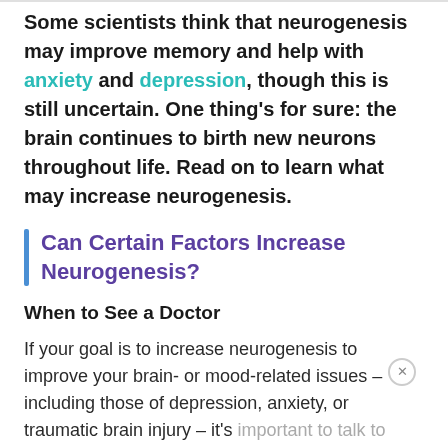Some scientists think that neurogenesis may improve memory and help with anxiety and depression, though this is still uncertain. One thing's for sure: the brain continues to birth new neurons throughout life. Read on to learn what may increase neurogenesis.
Can Certain Factors Increase Neurogenesis?
When to See a Doctor
If your goal is to increase neurogenesis to improve your brain- or mood-related issues – including those of depression, anxiety, or traumatic brain injury – it's important to talk to your doctor, especially your mood